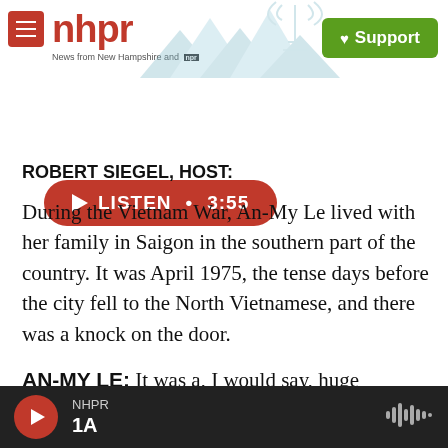nhpr — News from New Hampshire and NPR | Support
[Figure (screenshot): NHPR website header with hamburger menu, nhpr logo in red, decorative mountain/radio tower illustration, and green Support button]
LISTEN • 3:55
ROBERT SIEGEL, HOST:
During the Vietnam War, An-My Le lived with her family in Saigon in the southern part of the country. It was April 1975, the tense days before the city fell to the North Vietnamese, and there was a knock on the door.
AN-MY LE: It was a, I would say, huge American man in a Hawaiian shirt. And I still remember the
NHPR 1A